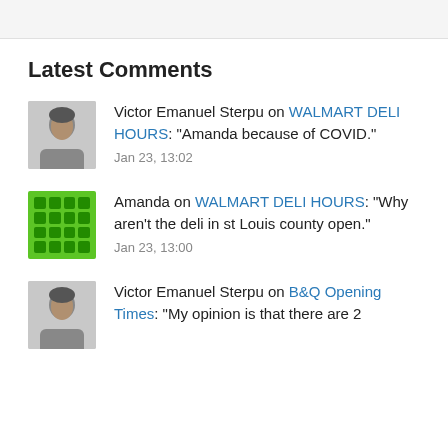Latest Comments
Victor Emanuel Sterpu on WALMART DELI HOURS: “Amanda because of COVID.” Jan 23, 13:02
Amanda on WALMART DELI HOURS: “Why aren’t the deli in st Louis county open.” Jan 23, 13:00
Victor Emanuel Sterpu on B&Q Opening Times: “My opinion is that there are 2